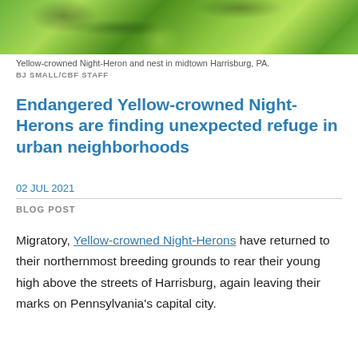[Figure (photo): Green tree canopy photo banner showing leaves and branches overhead]
Yellow-crowned Night-Heron and nest in midtown Harrisburg, PA.
BJ SMALL/CBF STAFF
Endangered Yellow-crowned Night-Herons are finding unexpected refuge in urban neighborhoods
02 JUL 2021
BLOG POST
Migratory, Yellow-crowned Night-Herons have returned to their northernmost breeding grounds to rear their young high above the streets of Harrisburg, again leaving their marks on Pennsylvania's capital city.